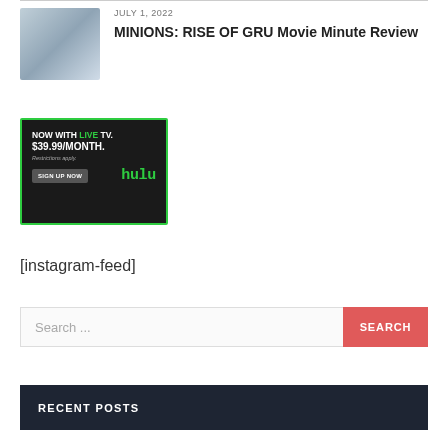[Figure (photo): Thumbnail image for a movie review article]
JULY 1, 2022
MINIONS: RISE OF GRU Movie Minute Review
[Figure (other): Hulu advertisement banner: NOW WITH LIVE TV. $39.99/MONTH. Restrictions apply. SIGN UP NOW. hulu]
[instagram-feed]
Search ...
RECENT POSTS